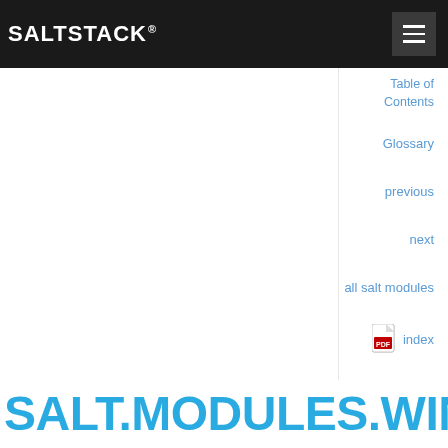SALTSTACK
Table of Contents
Glossary
previous
next
all salt modules
index
epub
SALT.MODULES.WIN_L